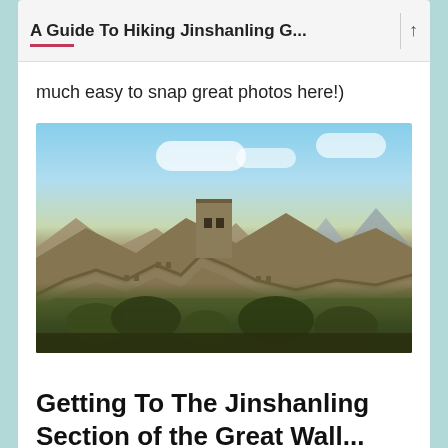A Guide To Hiking Jinshanling G...
much easy to snap great photos here!)
[Figure (photo): Photograph of the Jinshanling section of the Great Wall of China, showing the wall winding over hilly terrain with a watchtower in the center, trees in the foreground, mountains in the background, and a partly cloudy blue sky above.]
Getting To The Jinshanling Section of the Great Wall...